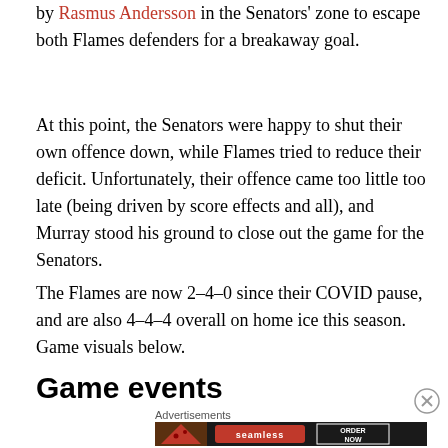by Rasmus Andersson in the Senators' zone to escape both Flames defenders for a breakaway goal.
At this point, the Senators were happy to shut their own offence down, while Flames tried to reduce their deficit. Unfortunately, their offence came too little too late (being driven by score effects and all), and Murray stood his ground to close out the game for the Senators.
The Flames are now 2–4–0 since their COVID pause, and are also 4–4–4 overall on home ice this season. Game visuals below.
Game events
Advertisements
[Figure (other): Seamless food delivery advertisement banner showing pizza image with 'seamless' logo and 'ORDER NOW' button]